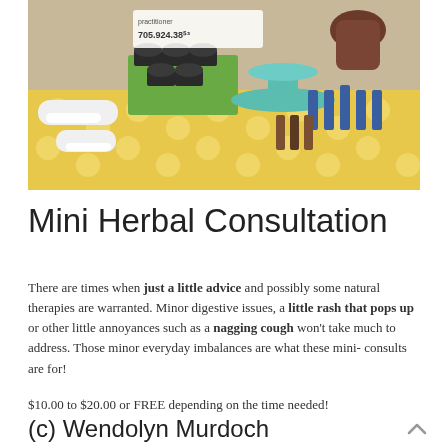[Figure (photo): A market stall table covered with a yellow checkered tablecloth, displaying various herbal products including small dark jars, bottles of tinctures, blue dropper bottles, and other natural remedy products on a tiered teal stand. A sign reads '705.924.38...' and 'practitioner'.]
Mini Herbal Consultation
There are times when just a little advice and possibly some natural therapies are warranted. Minor digestive issues, a little rash that pops up or other little annoyances such as a nagging cough won't take much to address. Those minor everyday imbalances are what these mini- consults are for!
$10.00 to $20.00 or FREE depending on the time needed!
(c) Wendolyn Murdoch